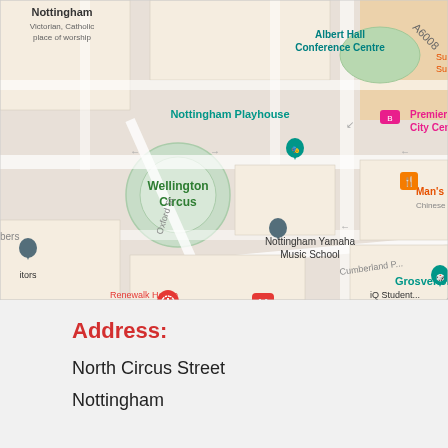[Figure (map): Google Maps screenshot showing area around North Circus Street, Nottingham, featuring Wellington Circus, Nottingham Playhouse, Albert Hall Conference Centre, Nottingham Yamaha Music School, Grosvenor Casino, East Midlands Orthodontics, NCP Nottingham Mount Street, Premier Inn City Centre, and other local landmarks. Oxford Street and Cumberland Place visible as street labels.]
Address:
North Circus Street
Nottingham